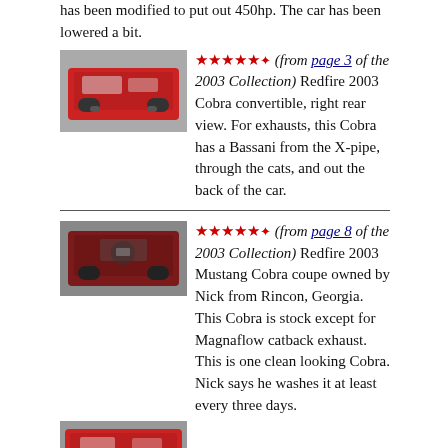has been modified to put out 450hp. The car has been lowered a bit.
[Figure (photo): Red Mustang Cobra convertible, right rear view, parked outdoors]
★★★★★✦ (from page 3 of the 2003 Collection) Redfire 2003 Cobra convertible, right rear view. For exhausts, this Cobra has a Bassani from the X-pipe, through the cats, and out the back of the car.
[Figure (photo): Dark red Mustang Cobra coupe, front view]
★★★★★✦ (from page 8 of the 2003 Collection) Redfire 2003 Mustang Cobra coupe owned by Nick from Rincon, Georgia. This Cobra is stock except for Magnaflow catback exhaust. This is one clean looking Cobra. Nick says he washes it at least every three days.
[Figure (photo): Red Mustang Cobra, partial view, bottom of page]